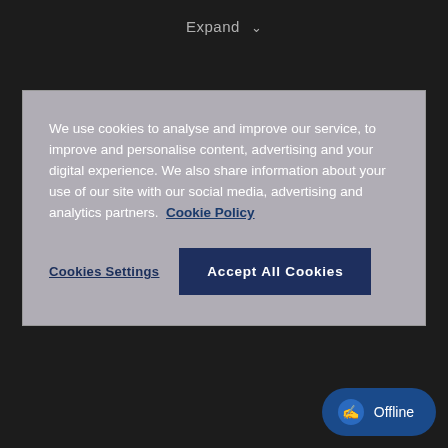Expand
We use cookies to analyse and improve our service, to improve and personalise content, advertising and your digital experience. We also share information about your use of our site with our social media, advertising and analytics partners. Cookie Policy
Cookies Settings
Accept All Cookies
in Cosmetics Global, IX, and Reed Exhibitions are trade marks of Reed Exhibitions Limited and its affiliates. RELX and the “RE” logo are trade marks of RELX Group plc, used under licence. Reed Exhibitions Limited is a private limited company, having its registered and principal office at Gateway House, 28 The Quadrant, Richmond, Surrey, TW9 1DN, registered in England and Wales with Company No. 678540. Business activity: Activities of exhibition and fair organisers VAT No. GB 232 4004 20 Tax ID No: 13960 00581
Offline